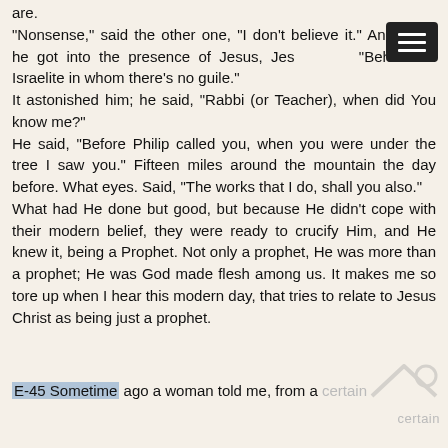are.
"Nonsense," said the other one, "I don't believe it." And when he got into the presence of Jesus, Jesus said, "Behold an Israelite in whom there's no guile."
It astonished him; he said, "Rabbi (or Teacher), when did You know me?"
He said, "Before Philip called you, when you were under the tree I saw you." Fifteen miles around the mountain the day before. What eyes. Said, "The works that I do, shall you also."
What had He done but good, but because He didn't cope with their modern belief, they were ready to crucify Him, and He knew it, being a Prophet. Not only a prophet, He was more than a prophet; He was God made flesh among us. It makes me so tore up when I hear this modern day, that tries to relate to Jesus Christ as being just a prophet.
E-45 Sometime ago a woman told me, from a certain denomination, that she had said, "Mr. Br...